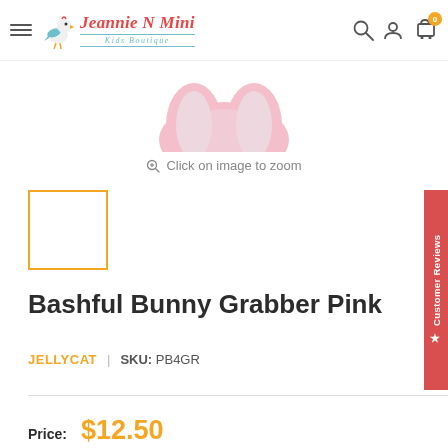Jeannie N Mini Kids Boutique — navigation header with hamburger menu, search, account, and cart icons
[Figure (photo): Bottom portion of a pink bunny grabber toy product image, partially visible at the top of the product page]
Click on image to zoom
[Figure (photo): Small thumbnail image box with orange border, showing the selected product thumbnail]
Bashful Bunny Grabber Pink
JELLYCAT | SKU: PB4GR
Price: $12.50